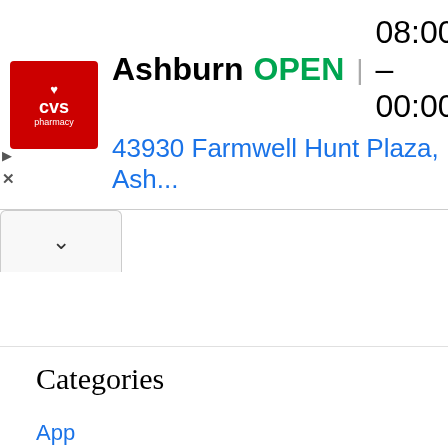[Figure (infographic): CVS Pharmacy ad banner showing logo, store name 'Ashburn', OPEN status, hours '08:00 – 00:00', address '43930 Farmwell Hunt Plaza, Ash...' and a blue navigation direction icon]
Categories
App
Game
social media